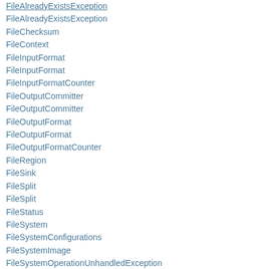FileAlreadyExistsException (partial, top)
FileAlreadyExistsException
FileChecksum
FileContext
FileInputFormat
FileInputFormat
FileInputFormatCounter
FileOutputCommitter
FileOutputCommitter
FileOutputFormat
FileOutputFormat
FileOutputFormatCounter
FileRegion
FileSink
FileSplit
FileSplit
FileStatus
FileSystem
FileSystemConfigurations
FileSystemImage
FileSystemOperationUnhandledException
FileSystemUriSchemes
FileUtil
FilterFileSystem
FilterOutputFormat
FilterOutputFormat
FinalApplicationStatus
FinishApplicationMasterRequest
FinishApplicationMasterResponse (partial)